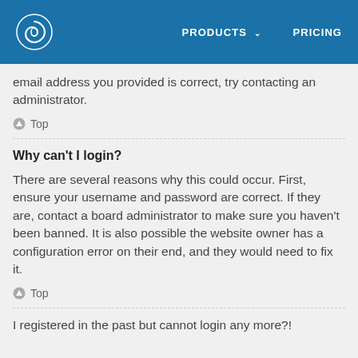PRODUCTS  PRICING
email address you provided is correct, try contacting an administrator.
⬆ Top
Why can't I login?
There are several reasons why this could occur. First, ensure your username and password are correct. If they are, contact a board administrator to make sure you haven't been banned. It is also possible the website owner has a configuration error on their end, and they would need to fix it.
⬆ Top
I registered in the past but cannot login any more?!